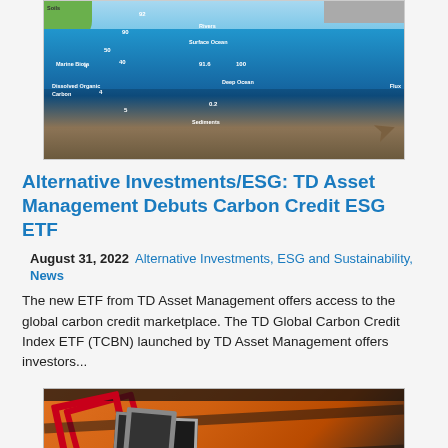[Figure (illustration): Carbon cycle diagram showing marine biota, surface ocean, deep ocean, dissolved organic carbon, sediments, rivers, soils, with numbered flux values and arrows indicating carbon flow between reservoirs]
Alternative Investments/ESG: TD Asset Management Debuts Carbon Credit ESG ETF
August 31, 2022    Alternative Investments, ESG and Sustainability, News
The new ETF from TD Asset Management offers access to the global carbon credit marketplace. The TD Global Carbon Credit Index ETF (TCBN) launched by TD Asset Management offers investors...
[Figure (illustration): Orange and black abstract image showing red angular shapes and dark rectangular elements, appears to be a financial/decorative image]